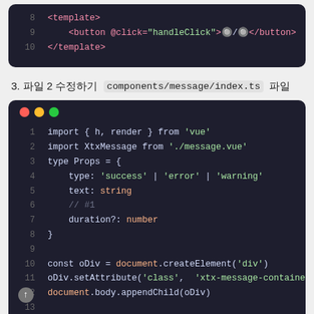[Figure (screenshot): Code editor screenshot showing lines 8-10 of a Vue template with <template>, <button @click='handleClick'> and </template> tags on dark background]
3. 파일 2 수정하기: components/message/index.ts 파일
[Figure (screenshot): Code editor screenshot showing TypeScript/Vue code for components/message/index.ts, lines 1-14, including imports, Props type definition, and document.createElement calls]